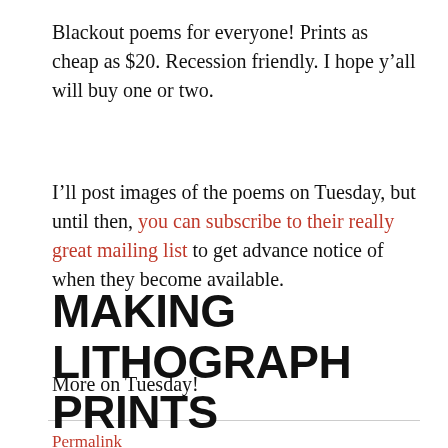Blackout poems for everyone! Prints as cheap as $20. Recession friendly. I hope y’all will buy one or two.
I’ll post images of the poems on Tuesday, but until then, you can subscribe to their really great mailing list to get advance notice of when they become available.
More on Tuesday!
Permalink
MAKING LITHOGRAPH PRINTS